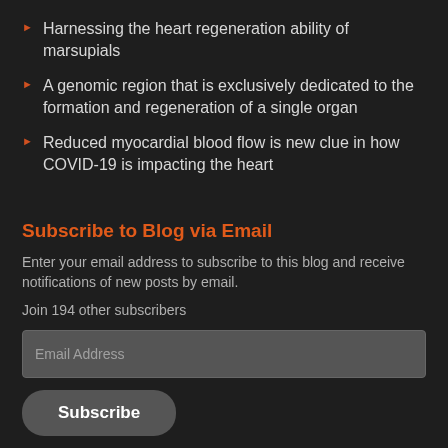Harnessing the heart regeneration ability of marsupials
A genomic region that is exclusively dedicated to the formation and regeneration of a single organ
Reduced myocardial blood flow is new clue in how COVID-19 is impacting the heart
Subscribe to Blog via Email
Enter your email address to subscribe to this blog and receive notifications of new posts by email.
Join 194 other subscribers